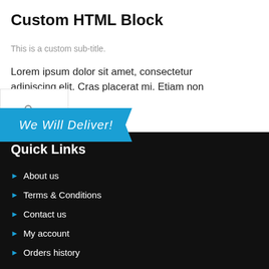Custom HTML Block
This is a custom sub-title.
Lorem ipsum dolor sit amet, consectetur adipiscing elit. Cras placerat mi. Etiam non tellus
[Figure (other): Settings/filter icon widget with three horizontal sliders]
[Figure (other): Blue banner with text 'We Will Deliver!']
Quick Links
About us
Terms & Conditions
Contact us
My account
Orders history